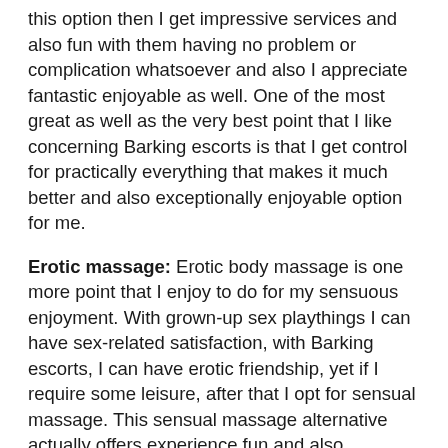this option then I get impressive services and also fun with them having no problem or complication whatsoever and also I appreciate fantastic enjoyable as well. One of the most great as well as the very best point that I like concerning Barking escorts is that I get control for practically everything that makes it much better and also exceptionally enjoyable option for me.
Erotic massage: Erotic body massage is one more point that I enjoy to do for my sensuous enjoyment. With grown-up sex playthings I can have sex-related satisfaction, with Barking escorts, I can have erotic friendship, yet if I require some leisure, after that I opt for sensual massage. This sensual massage alternative actually offers experience fun and also relaxation to me. This is something that constantly offers amazing fun to me and I can enjoy this simply by going to any type of massage.